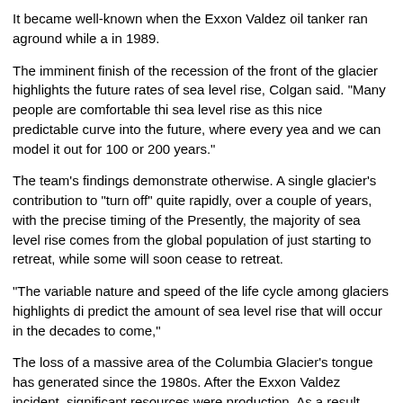It became well-known when the Exxon Valdez oil tanker ran aground while a in 1989.
The imminent finish of the recession of the front of the glacier highlights the future rates of sea level rise, Colgan said. "Many people are comfortable thi sea level rise as this nice predictable curve into the future, where every yea and we can model it out for 100 or 200 years."
The team's findings demonstrate otherwise. A single glacier's contribution to "turn off" quite rapidly, over a couple of years, with the precise timing of the Presently, the majority of sea level rise comes from the global population of just starting to retreat, while some will soon cease to retreat.
"The variable nature and speed of the life cycle among glaciers highlights di predict the amount of sea level rise that will occur in the decades to come,"
The loss of a massive area of the Columbia Glacier's tongue has generated since the 1980s. After the Exxon Valdez incident, significant resources were production. As a result, Columbia Glacier became one of the most well-docu world, providing a bank of observational data for scientists trying to understa a warming climate.